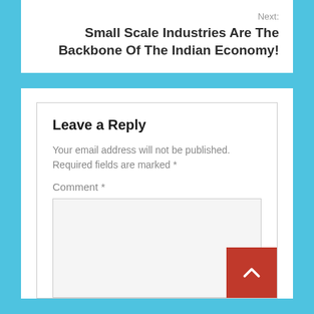Next: Small Scale Industries Are The Backbone Of The Indian Economy!
Leave a Reply
Your email address will not be published. Required fields are marked *
Comment *
[Figure (other): Back to top button: red square with white upward chevron arrow]